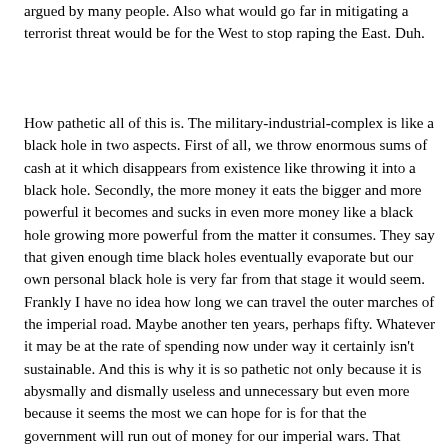argued by many people. Also what would go far in mitigating a terrorist threat would be for the West to stop raping the East. Duh.
How pathetic all of this is. The military-industrial-complex is like a black hole in two aspects. First of all, we throw enormous sums of cash at it which disappears from existence like throwing it into a black hole. Secondly, the more money it eats the bigger and more powerful it becomes and sucks in even more money like a black hole growing more powerful from the matter it consumes. They say that given enough time black holes eventually evaporate but our own personal black hole is very far from that stage it would seem. Frankly I have no idea how long we can travel the outer marches of the imperial road. Maybe another ten years, perhaps fifty. Whatever it may be at the rate of spending now under way it certainly isn't sustainable. And this is why it is so pathetic not only because it is abysmally and dismally useless and unnecessary but even more because it seems the most we can hope for is for that the government will run out of money for our imperial wars. That really is pathetic and I'm not sure what it says about us as a people.